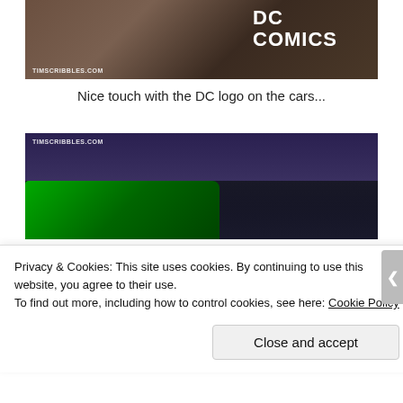[Figure (photo): Close-up photo of a dark brown/tan surface with 'DC COMICS' text in white raised letters. Watermark 'TIMSCRIBBLES.COM' visible at bottom left.]
Nice touch with the DC logo on the cars...
[Figure (photo): Wide-angle photo of a convention hall floor with a green car in the foreground and a crowd of people in the background. Ceiling has purple lighting and numerous hanging lights. Watermark 'TIMSCRIBBLES.COM' at top left.]
Privacy & Cookies: This site uses cookies. By continuing to use this website, you agree to their use.
To find out more, including how to control cookies, see here: Cookie Policy
Close and accept